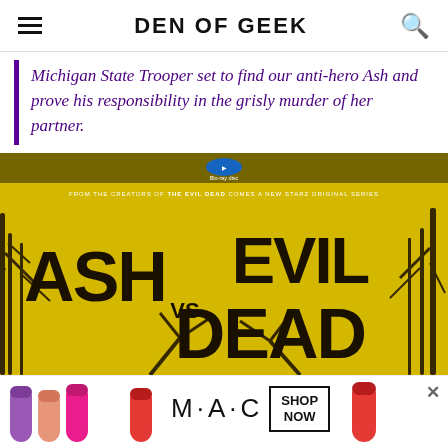DEN OF GEEK
Michigan State Trooper set to find our anti-hero Ash and prove his responsibility in the grisly murder of her partner.
[Figure (photo): Ash vs Evil Dead Blu-ray cover / show logo on yellow background with dark tree branches. Text reads: FROM THE CREATORS OF THE EVIL DEAD COMES A NEW STARZ ORIGINAL SERIES. Large stylized logo reads ASH VS EVIL DEAD.]
[Figure (photo): MAC cosmetics advertisement banner with lipsticks and SHOP NOW button, with close (X) icon.]